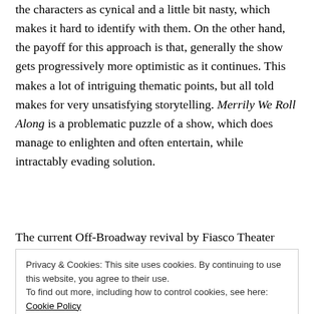the characters as cynical and a little bit nasty, which makes it hard to identify with them. On the other hand, the payoff for this approach is that, generally the show gets progressively more optimistic as it continues. This makes a lot of intriguing thematic points, but all told makes for very unsatisfying storytelling. Merrily We Roll Along is a problematic puzzle of a show, which does manage to enlighten and often entertain, while intractably evading solution.
The current Off-Broadway revival by Fiasco Theater
Privacy & Cookies: This site uses cookies. By continuing to use this website, you agree to their use. To find out more, including how to control cookies, see here: Cookie Policy
Close and accept